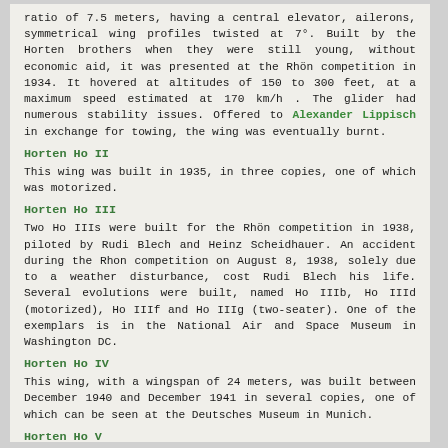ratio of 7.5 meters, having a central elevator, ailerons, symmetrical wing profiles twisted at 7°. Built by the Horten brothers when they were still young, without economic aid, it was presented at the Rhön competition in 1934. It hovered at altitudes of 150 to 300 feet, at a maximum speed estimated at 170 km/h . The glider had numerous stability issues. Offered to Alexander Lippisch in exchange for towing, the wing was eventually burnt.
Horten Ho II
This wing was built in 1935, in three copies, one of which was motorized.
Horten Ho III
Two Ho IIIs were built for the Rhön competition in 1938, piloted by Rudi Blech and Heinz Scheidhauer. An accident during the Rhon competition on August 8, 1938, solely due to a weather disturbance, cost Rudi Blech his life. Several evolutions were built, named Ho IIIb, Ho IIId (motorized), Ho IIIf and Ho IIIg (two-seater). One of the exemplars is in the National Air and Space Museum in Washington DC.
Horten Ho IV
This wing, with a wingspan of 24 meters, was built between December 1940 and December 1941 in several copies, one of which can be seen at the Deutsches Museum in Munich.
Horten Ho V
This wing, the first to be built using composite materials, such as the Mipolan and the Astralon, was built in 1944. It was powered by two propellant propeller engines. Its only copy was destroyed during a takeoff, when an engine broke down, throwing it off balance.
Horten Parabola
The shape of this wing, which has never flown, is